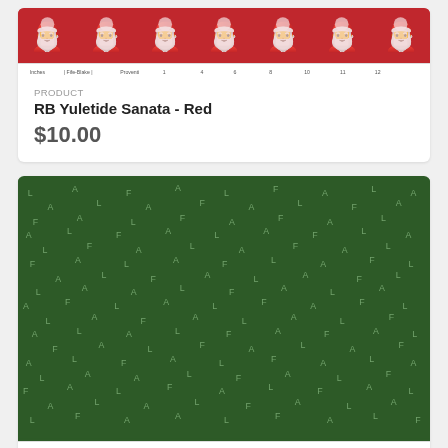[Figure (photo): Red fabric with repeating Santa Claus pattern, with ruler strip below]
PRODUCT
RB Yuletide Sanata - Red
$10.00
[Figure (photo): Dark green fabric with repeating scattered letters F, A, L pattern (Falala), with ruler strip below]
PRODUCT
RB Yuletide FaLaLa - Green